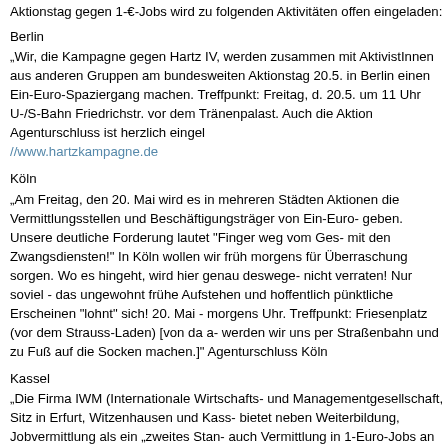Aktionstag gegen 1-€-Jobs wird zu folgenden Aktivitäten offen eingeladen:
Berlin
„Wir, die Kampagne gegen Hartz IV, werden zusammen mit AktivistInnen aus anderen Gruppen am bundesweiten Aktionstag 20.5. in Berlin einen Ein-Euro-Spaziergang machen. Treffpunkt: Freitag, d. 20.5. um 11 Uhr U-/S-Bahn Friedrichstr. vor dem Tränenpalast. Auch die Aktion Agenturschluss ist herzlich eingel- //www.hartzkampagne.de
Köln
„Am Freitag, den 20. Mai wird es in mehreren Städten Aktionen die Vermittlungsstellen und Beschäftigungsträger von Ein-Euro- geben. Unsere deutliche Forderung lautet "Finger weg vom Ges- mit den Zwangsdiensten!" In Köln wollen wir früh morgens für Überraschung sorgen. Wo es hingeht, wird hier genau deswege- nicht verraten! Nur soviel - das ungewohnt frühe Aufstehen und hoffentlich pünktliche Erscheinen "lohnt" sich! 20. Mai - morgens Uhr. Treffpunkt: Friesenplatz (vor dem Strauss-Laden) [von da a- werden wir uns per Straßenbahn und zu Fuß auf die Socken machen.]" Agenturschluss Köln
Kassel
„Die Firma IWM (Internationale Wirtschafts- und Managementgesellschaft, Sitz in Erfurt, Witzenhausen und Kass- bietet neben Weiterbildung, Jobvermittlung als ein „zweites Stan- auch Vermittlung in 1-Euro-Jobs an (und kassiert vermutlich die entsprechende Vermittlungsgebühr). Vor dieser Firma soll am F- ein Infostand stattfinden. Treffpunkt dafür ist um 9.30 Uhr am DO